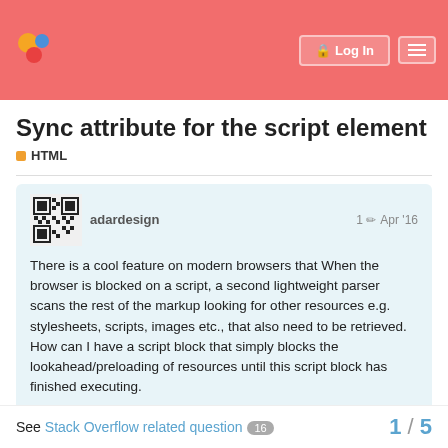Discourse forum header with logo and Login / hamburger buttons
Sync attribute for the script element
HTML
adardesign  1  Apr '16
There is a cool feature on modern browsers that When the browser is blocked on a script, a second lightweight parser scans the rest of the markup looking for other resources e.g. stylesheets, scripts, images etc., that also need to be retrieved. How can I have a script block that simply blocks the lookahead/preloading of resources until this script block has finished executing.
I suggest a <script sync> attribute that should do just this...
See Stack Overflow related question 16
1 / 5